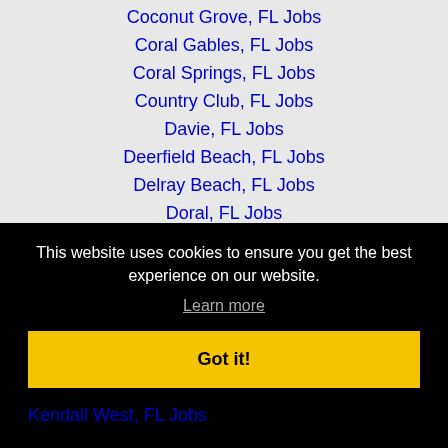Coconut Grove, FL Jobs
Coral Gables, FL Jobs
Coral Springs, FL Jobs
Country Club, FL Jobs
Davie, FL Jobs
Deerfield Beach, FL Jobs
Delray Beach, FL Jobs
Doral, FL Jobs
Fort Lauderdale, FL Jobs
Fort Pierce, FL Jobs
This website uses cookies to ensure you get the best experience on our website.
Learn more
Got it!
Kendall West, FL Jobs